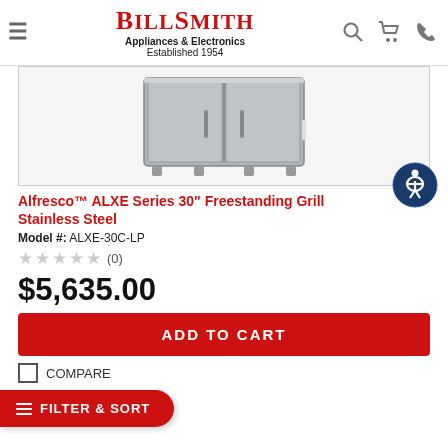BillSmith Appliances & Electronics Established 1954
[Figure (photo): Stainless steel freestanding grill appliance with two doors, shown from front angle on white background]
Alfresco™ ALXE Series 30" Freestanding Grill Stainless Steel
Model #: ALXE-30C-LP
★★★★★ (0)
$5,635.00
ADD TO CART
FILTER & SORT
COMPARE